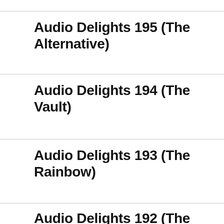Audio Delights 195 (The Alternative)
Audio Delights 194 (The Vault)
Audio Delights 193 (The Rainbow)
Audio Delights 192 (The